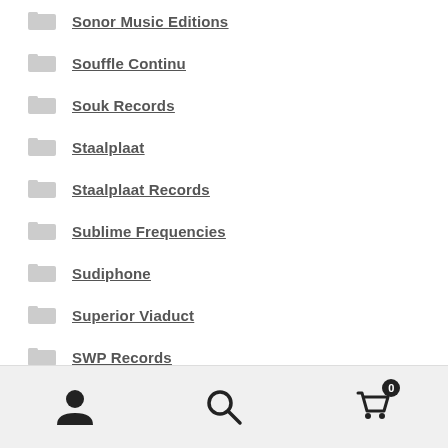Sonor Music Editions
Souffle Continu
Souk Records
Staalplaat
Staalplaat Records
Sublime Frequencies
Sudiphone
Superior Viaduct
SWP Records
The grammophone Company of India
Three:four Records
User icon | Search icon | Cart icon (0)